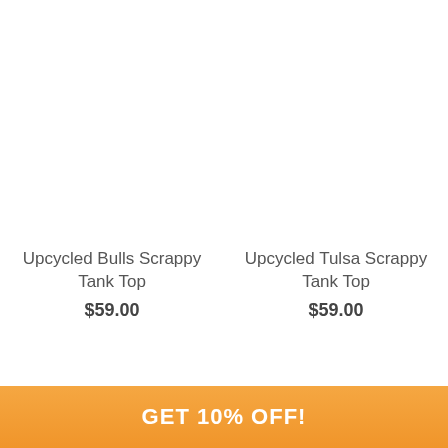Upcycled Bulls Scrappy Tank Top
$59.00
Upcycled Tulsa Scrappy Tank Top
$59.00
GET 10% OFF!